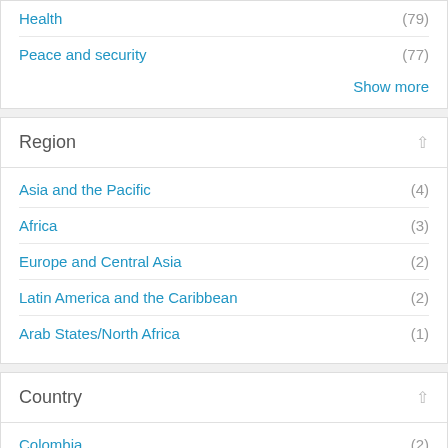Health (79)
Peace and security (77)
Show more
Region
Asia and the Pacific (4)
Africa (3)
Europe and Central Asia (2)
Latin America and the Caribbean (2)
Arab States/North Africa (1)
Country
Colombia (2)
Nepal (2)
Philippines (2)